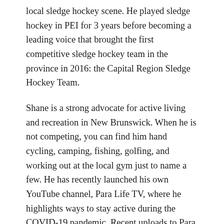local sledge hockey scene. He played sledge hockey in PEI for 3 years before becoming a leading voice that brought the first competitive sledge hockey team in the province in 2016: the Capital Region Sledge Hockey Team.
Shane is a strong advocate for active living and recreation in New Brunswick. When he is not competing, you can find him hand cycling, camping, fishing, golfing, and working out at the local gym just to name a few. He has recently launched his own YouTube channel, Para Life TV, where he highlights ways to stay active during the COVID-19 pandemic. Recent uploads to Para Life TV highlight accessible cycling trails, accessible camping features and obstacles, home workouts and even a visit to our storage facility to highlight our Para NB program and its services. Shane is no stranger to our program as he